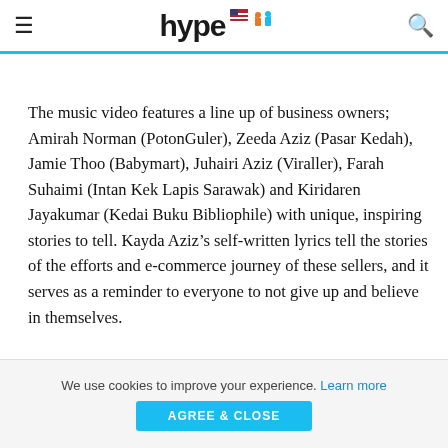≡  hype  🔍
The music video features a line up of business owners; Amirah Norman (PotonGuler), Zeeda Aziz (Pasar Kedah), Jamie Thoo (Babymart), Juhairi Aziz (Viraller), Farah Suhaimi (Intan Kek Lapis Sarawak) and Kiridaren Jayakumar (Kedai Buku Bibliophile) with unique, inspiring stories to tell. Kayda Aziz's self-written lyrics tell the stories of the efforts and e-commerce journey of these sellers, and it serves as a reminder to everyone to not give up and believe in themselves.
We use cookies to improve your experience. Learn more  AGREE & CLOSE